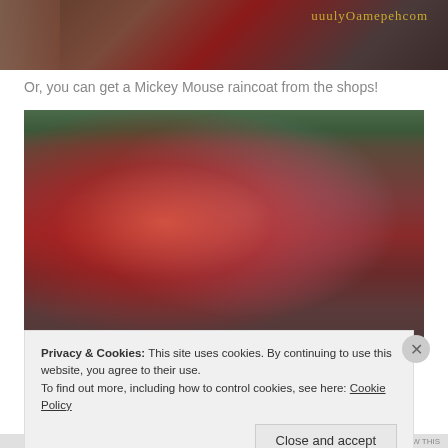[Figure (photo): Top portion of a photo showing a dark reddish-brown background with gold cursive text watermark resembling a website URL]
Or, you can get a Mickey Mouse raincoat from the shops!
[Figure (photo): Two women wearing Mickey Mouse raincoats (one red with white polka dots, one grey/white) walking in the rain at what appears to be Tokyo Disneyland, with crowds of people sitting in the background with umbrellas. Gold cursive text watermark at the bottom.]
Privacy & Cookies: This site uses cookies. By continuing to use this website, you agree to their use.
To find out more, including how to control cookies, see here: Cookie Policy
Close and accept